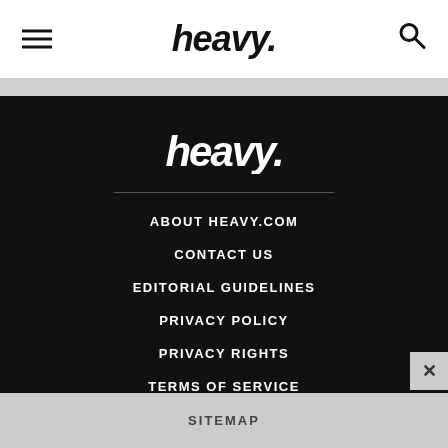heavy.
[Figure (logo): heavy. logo in white on black footer background]
ABOUT HEAVY.COM
CONTACT US
EDITORIAL GUIDELINES
PRIVACY POLICY
PRIVACY RIGHTS
TERMS OF SERVICE
SITEMAP